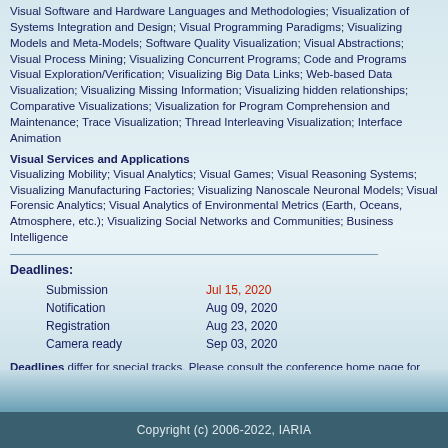Visual Software and Hardware Languages and Methodologies; Visualization of Systems Integration and Design; Visual Programming Paradigms; Visualizing Models and Meta-Models; Software Quality Visualization; Visual Abstractions; Visual Process Mining; Visualizing Concurrent Programs; Code and Programs Visual Exploration/Verification; Visualizing Big Data Links; Web-based Data Visualization; Visualizing Missing Information; Visualizing hidden relationships; Comparative Visualizations; Visualization for Program Comprehension and Maintenance; Trace Visualization; Thread Interleaving Visualization; Interface Animation
Visual Services and Applications
Visualizing Mobility; Visual Analytics; Visual Games; Visual Reasoning Systems; Visualizing Manufacturing Factories; Visualizing Nanoscale Neuronal Models; Visual Forensic Analytics; Visual Analytics of Environmental Metrics (Earth, Oceans, Atmosphere, etc.); Visualizing Social Networks and Communities; Business Intelligence
Deadlines:
|  |  |
| --- | --- |
| Submission | Jul 15, 2020 |
| Notification | Aug 09, 2020 |
| Registration | Aug 23, 2020 |
| Camera ready | Sep 03, 2020 |
Deadlines differ for special tracks. Please consult the conference home page for special tracks Call for Papers (if any).
Copyright (c) 2006-2022, IARIA